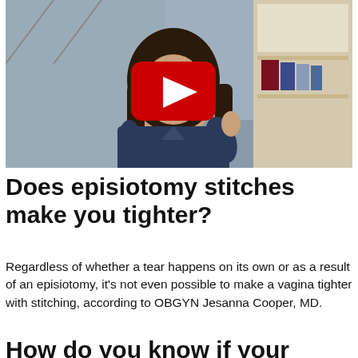[Figure (screenshot): YouTube video thumbnail showing a woman with long dark hair wearing dark blue scrubs, gesturing with her hand near her chest. She is indoors with a white bookshelf and stacked books visible in the background. A large red YouTube play button is overlaid in the center of the image.]
Does episiotomy stitches make you tighter?
Regardless of whether a tear happens on its own or as a result of an episiotomy, it’s not even possible to make a vagina tighter with stitching, according to OBGYN Jesanna Cooper, MD.
How do you know if your